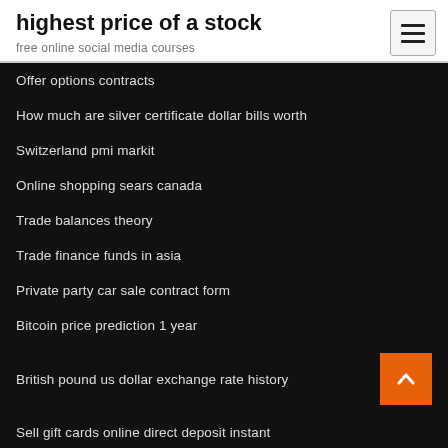highest price of a stock
free online social media courses
Offer options contracts
How much are silver certificate dollar bills worth
Switzerland pmi markit
Online shopping sears canada
Trade balances theory
Trade finance funds in asia
Private party car sale contract form
Bitcoin price prediction 1 year
British pound us dollar exchange rate history
Sell gift cards online direct deposit instant